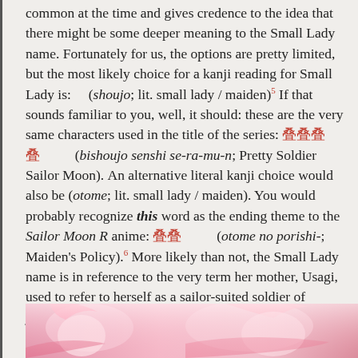common at the time and gives credence to the idea that there might be some deeper meaning to the Small Lady name. Fortunately for us, the options are pretty limited, but the most likely choice for a kanji reading for Small Lady is: (shoujo; lit. small lady / maiden)⁵ If that sounds familiar to you, well, it should: these are the very same characters used in the title of the series: [kanji] (bishoujo senshi se-ra-mu-n; Pretty Soldier Sailor Moon). An alternative literal kanji choice would also be (otome; lit. small lady / maiden). You would probably recognize this word as the ending theme to the Sailor Moon R anime: [kanji] (otome no porishi-; Maiden's Policy).⁶ More likely than not, the Small Lady name is in reference to the very term her mother, Usagi, used to refer to herself as a sailor-suited soldier of justice.
[Figure (illustration): Manga/anime illustration strip at bottom of page showing pink-colored characters from Sailor Moon]